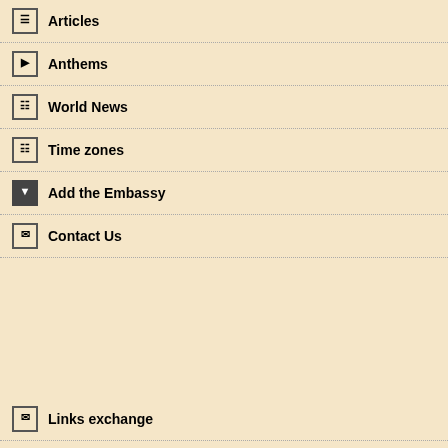Articles
Anthems
World News
Time zones
Add the Embassy
Contact Us
Links exchange
countries, mainta...
Administrative divisions: 6 districts (meho...
Independence: 14 May 1948 (fro...
National holiday: Independence Da... calendar is lunar...
Constitution: no formal constit... (1948), the Basic...
Legal system: mixture of Englis... and Muslim legal... accept compulso...
Suffrage: 18 years of age;
Executive branch: chief of state: Pre... head of governm... cabinet: Cabinet... elections: preside... election last held... assigns a Knesse... coalition; election... election results: N... other candidate,... continues as prim... and then formed...
Legislative branch: unicameral Knes... elections: last he... election results: p... National Union 5... Front for Peace a... (YBA) 2.2%, Unit...